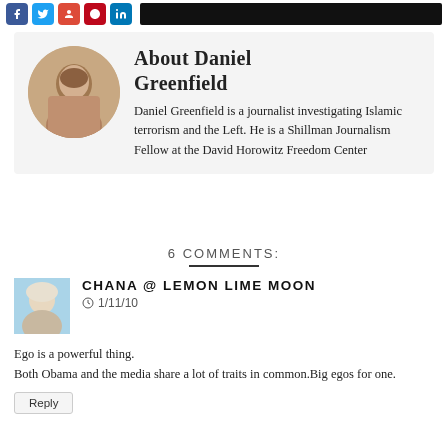[Figure (screenshot): Top bar with social media icon buttons (Facebook, Twitter, Google+, Pinterest, LinkedIn) and a dark bar]
About Daniel Greenfield
[Figure (photo): Circular profile photo of Daniel Greenfield]
Daniel Greenfield is a journalist investigating Islamic terrorism and the Left. He is a Shillman Journalism Fellow at the David Horowitz Freedom Center
6 COMMENTS:
[Figure (photo): Small avatar photo of commenter Chana]
CHANA @ LEMON LIME MOON
1/11/10
Ego is a powerful thing.
Both Obama and the media share a lot of traits in common.Big egos for one.